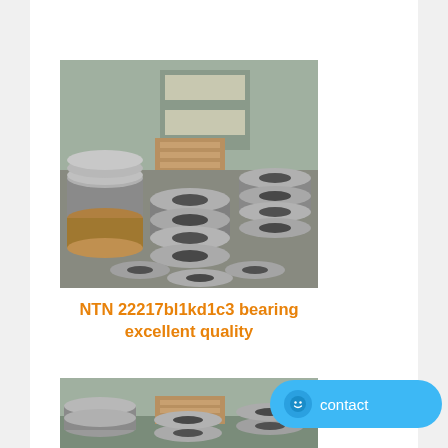[Figure (photo): Industrial warehouse with stacks of large steel bearings and rings piled on a factory floor, with shelving in background]
NTN 22217bl1kd1c3 bearing excellent quality
[Figure (photo): Same industrial bearing warehouse, partial view of stacked steel bearings and rings on the factory floor]